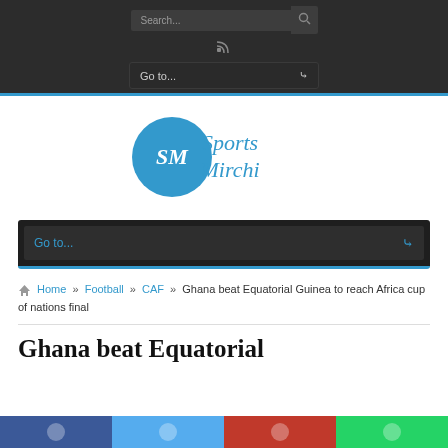Search... [search icon] [RSS icon]
Go to... (dropdown)
[Figure (logo): Sports Mirchi logo: blue circle with SM monogram and cursive 'Sports Mirchi' text in blue]
Go to... (dropdown navigation)
Home » Football » CAF » Ghana beat Equatorial Guinea to reach Africa cup of nations final
Ghana beat Equatorial